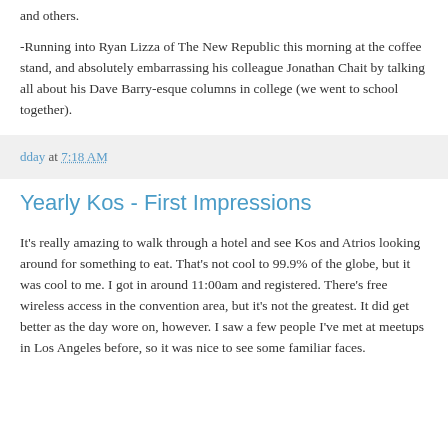and others.
-Running into Ryan Lizza of The New Republic this morning at the coffee stand, and absolutely embarrassing his colleague Jonathan Chait by talking all about his Dave Barry-esque columns in college (we went to school together).
dday at 7:18 AM
Yearly Kos - First Impressions
It's really amazing to walk through a hotel and see Kos and Atrios looking around for something to eat. That's not cool to 99.9% of the globe, but it was cool to me. I got in around 11:00am and registered. There's free wireless access in the convention area, but it's not the greatest. It did get better as the day wore on, however. I saw a few people I've met at meetups in Los Angeles before, so it was nice to see some familiar faces.